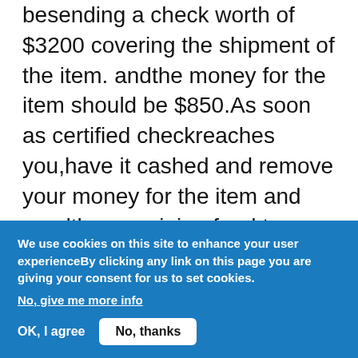besending a check worth of $3200 covering the shipment of the item. andthe money for the item should be $850.As soon as certified checkreaches you,have it cashed and remove your money for the item and sendthe remaining fund to my shipper by western union money transfer.Myshipper is also picking some of my other items up for me in the samecity of yours, so that is why i need to give him that amount.I willlike you to remove $100 for your running around in getting the checkcashed...pls let me know if i can trust
We use cookies on this site to enhance your user experienceBy clicking any link on this page you are giving your consent for us to set cookies.
No, give me more info
OK, I agree
No, thanks